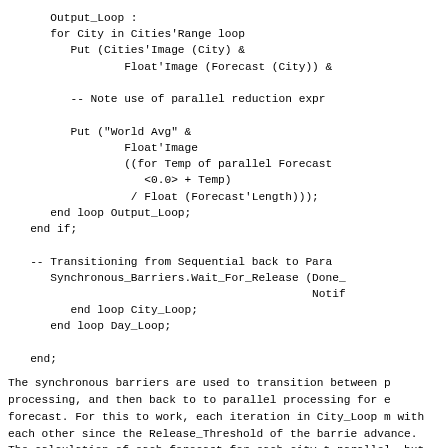Output_Loop :
   for City in Cities'Range loop
      Put (Cities'Image (City) &
              Float'Image (Forecast (City)) &

         -- Note use of parallel reduction expr

         Put ("World Avg" &
                 Float'Image
                 ((for Temp of parallel Forecast
                    <0.0> + Temp)
                  / Float (Forecast'Length)));
   end loop Output_Loop;
end if;

-- Transitioning from Sequential back to Para
   Synchronous_Barriers.Wait_For_Release (Done_
                                          Notif
      end loop City_Loop;
   end loop Day_Loop;

end;
The synchronous barriers are used to transition between p processing, and then back to to parallel processing for e forecast. For this to work, each iteration in City_Loop m with each other since the Release_Threshold of the barrie advance. The calculation of each forecast for each city t parallel, but presumably, the weather calculations are su